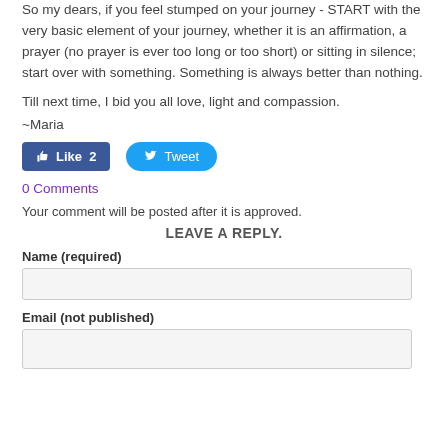So my dears, if you feel stumped on your journey - START with the very basic element of your journey, whether it is an affirmation, a prayer (no prayer is ever too long or too short) or sitting in silence; start over with something. Something is always better than nothing.
Till next time, I bid you all love, light and compassion.
~Maria
[Figure (other): Facebook Like button (count: 2) and Twitter Tweet button]
0 Comments
Your comment will be posted after it is approved.
LEAVE A REPLY.
Name (required)
Email (not published)